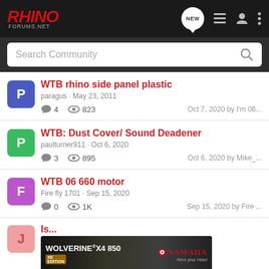RHINO FORUMS.NET - navigation header
Search Community
WTB rhino side panel plastic
paragus · May 23, 2011  |  4 replies  |  823 views  |  Oct 7, 2020 by I'm 06...
WTB: Dust Cover/ Sound Deadener
paulturner911 · Oct 6, 2020  |  3 replies  |  895 views  |  Oct 6, 2020 by Mike_...
WTB 06 660 motor
Fire fly 1701 · Sep 15, 2020  |  0 replies  |  1K views  |  Sep 15, 2020 by Fire ...
[Figure (screenshot): Yamaha Wolverine X4 850 advertisement banner]